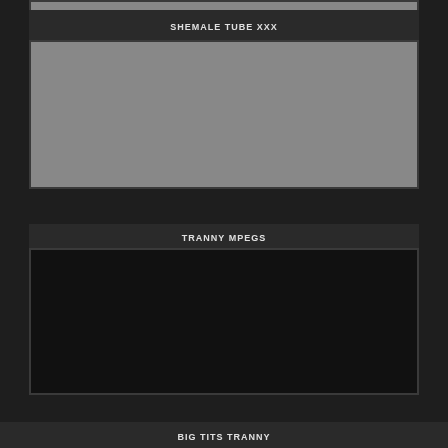[Figure (photo): Partial thumbnail image at top, gray rectangle cropped]
SHEMALE TUBE XXX
[Figure (photo): Gray thumbnail placeholder image]
TRANNY MPEGS
[Figure (photo): Black/dark thumbnail placeholder image]
BIG TITS TRANNY